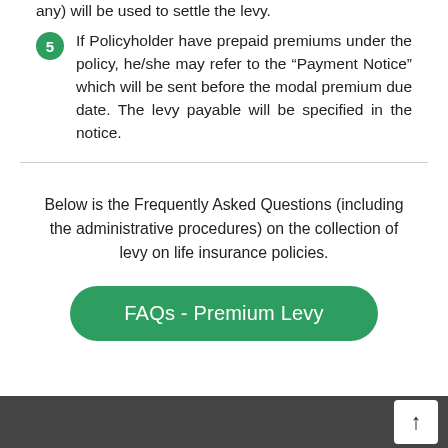any)  will be used to settle the levy.
If Policyholder have prepaid premiums under the policy, he/she may refer to the “Payment Notice” which will be sent before the modal premium due date. The levy payable will be specified in the notice.
Below is the Frequently Asked Questions (including the administrative procedures) on the collection of levy on life insurance policies.
[Figure (other): Green rounded rectangle button labeled 'FAQs - Premium Levy']